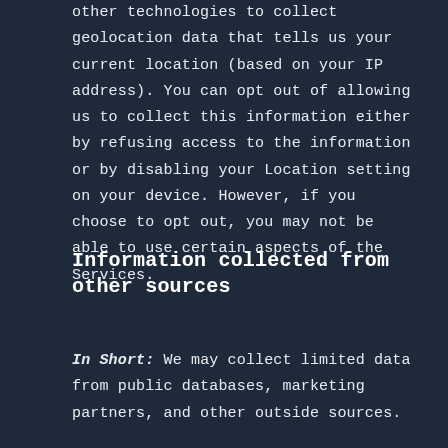other technologies to collect geolocation data that tells us your current location (based on your IP address). You can opt out of allowing us to collect this information either by refusing access to the information or by disabling your Location setting on your device. However, if you choose to opt out, you may not be able to use certain aspects of the Services.
Information collected from other sources
In Short: We may collect limited data from public databases, marketing partners, and other outside sources.